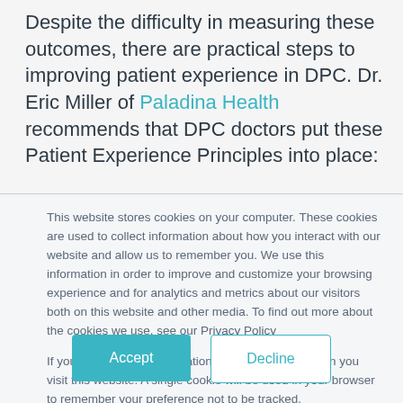Despite the difficulty in measuring these outcomes, there are practical steps to improving patient experience in DPC. Dr. Eric Miller of Paladina Health recommends that DPC doctors put these Patient Experience Principles into place:
This website stores cookies on your computer. These cookies are used to collect information about how you interact with our website and allow us to remember you. We use this information in order to improve and customize your browsing experience and for analytics and metrics about our visitors both on this website and other media. To find out more about the cookies we use, see our Privacy Policy
If you decline, your information won't be tracked when you visit this website. A single cookie will be used in your browser to remember your preference not to be tracked.